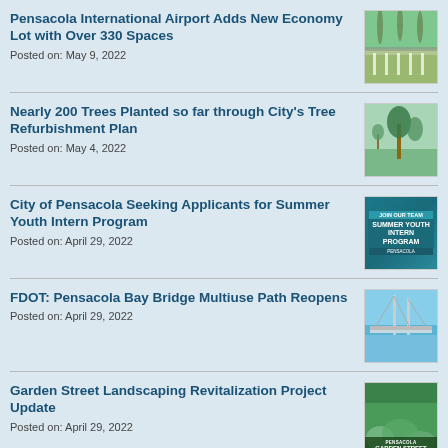Pensacola International Airport Adds New Economy Lot with Over 330 Spaces
Posted on: May 9, 2022
Nearly 200 Trees Planted so far through City's Tree Refurbishment Plan
Posted on: May 4, 2022
City of Pensacola Seeking Applicants for Summer Youth Intern Program
Posted on: April 29, 2022
FDOT: Pensacola Bay Bridge Multiuse Path Reopens
Posted on: April 29, 2022
Garden Street Landscaping Revitalization Project Update
Posted on: April 29, 2022